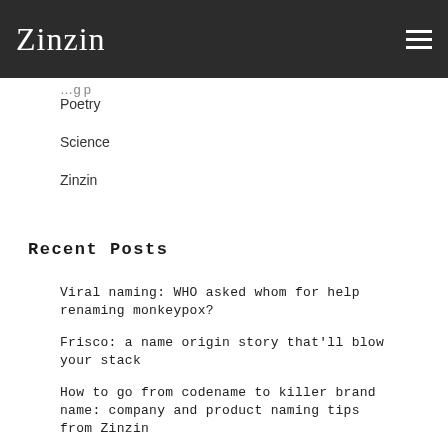Zinzin
Poetry
Science
Zinzin
Recent Posts
Viral naming: WHO asked whom for help renaming monkeypox?
Frisco: a name origin story that'll blow your stack
How to go from codename to killer brand name: company and product naming tips from Zinzin
Warby Parker: an iconic brand name with 20/20 naming vision
FOSO: Zinzin's top naming tips to tangle your...